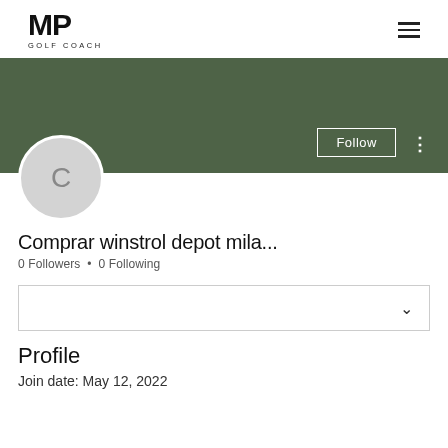MP GOLF COACH
[Figure (illustration): Green cover banner with Follow button and three-dot menu]
[Figure (illustration): Circular avatar with letter C on light gray background]
Comprar winstrol depot mila...
0 Followers • 0 Following
[Figure (other): Dropdown selector box with chevron]
Profile
Join date: May 12, 2022